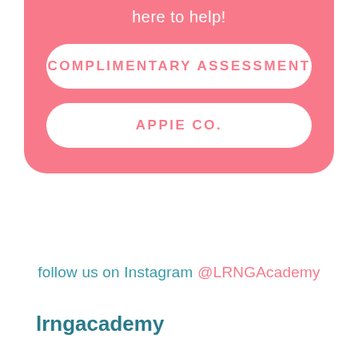here to help!
COMPLIMENTARY ASSESSMENT
APPIE CO.
follow us on Instagram @LRNGAcademy
lrngacademy